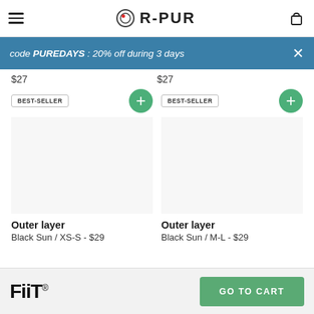R-PUR
code PUREDAYS : 20% off during 3 days
$27
$27
BEST-SELLER
BEST-SELLER
Outer layer
Black Sun / XS-S - $29
Outer layer
Black Sun / M-L - $29
FiiT®  GO TO CART